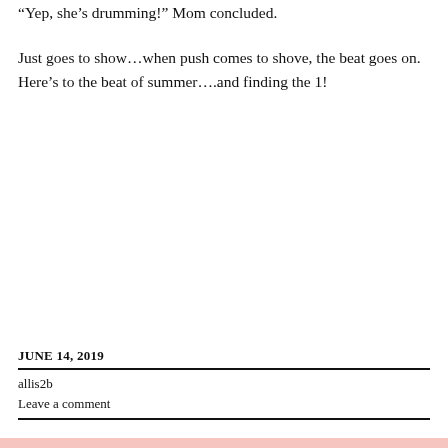“Yep, she’s drumming!” Mom concluded.
Just goes to show…when push comes to shove, the beat goes on. Here’s to the beat of summer….and finding the 1!
JUNE 14, 2019
allis2b
Leave a comment